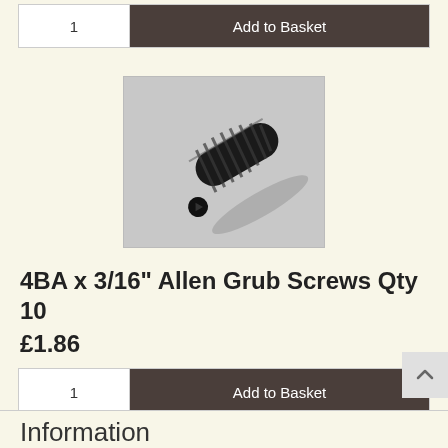[Figure (other): Add to Basket button row with quantity field showing '1' and dark brown 'Add to Basket' button at top of page]
[Figure (photo): Black Allen grub screw (set screw) photographed on grey background, showing threaded cylindrical body with hex socket at one end]
4BA x 3/16" Allen Grub Screws Qty 10
£1.86
[Figure (other): Add to Basket button row with quantity field showing '1' and dark brown 'Add to Basket' button]
Information